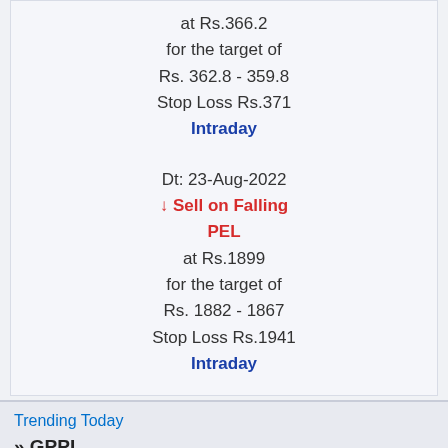at Rs.366.2
for the target of
Rs. 362.8 - 359.8
Stop Loss Rs.371
Intraday
Dt: 23-Aug-2022
↓ Sell on Falling
PEL
at Rs.1899
for the target of
Rs. 1882 - 1867
Stop Loss Rs.1941
Intraday
Trending Today
» GPPL
» AEGL...